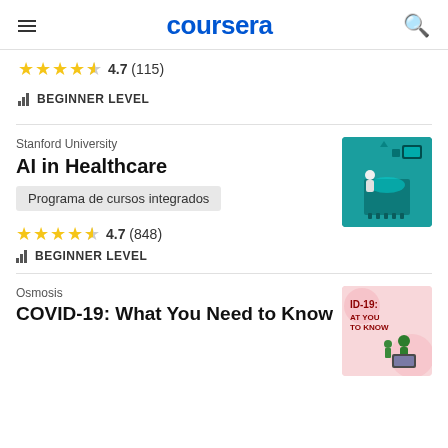coursera
4.7 (115)
BEGINNER LEVEL
Stanford University
AI in Healthcare
Programa de cursos integrados
4.7 (848)
BEGINNER LEVEL
Osmosis
COVID-19: What You Need to Know
[Figure (illustration): AI in Healthcare course thumbnail: teal isometric illustration showing a scientist/doctor figure with AI chip, medical icons, and health data visuals]
[Figure (illustration): COVID-19 course thumbnail: pink background with green illustrated figures at a computer, text reading ID-19: AT YOU TO KNOW]